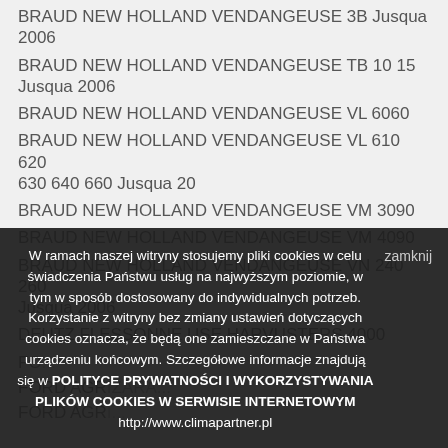BRAUD NEW HOLLAND VENDANGEUSE 3B Jusqua 2006
BRAUD NEW HOLLAND VENDANGEUSE TB 10 15 Jusqua 2006
BRAUD NEW HOLLAND VENDANGEUSE VL 6060
BRAUD NEW HOLLAND VENDANGEUSE VL 610 620 630 640 660 Jusqua 20
BRAUD NEW HOLLAND VENDANGEUSE VM 3090
BRAUD NEW HOLLAND VENDANGEUSE VM 4090
BRAUD NEW HOLLAND VENDANGEUSE VN 240 260 Jusqua 2006
DEUTZ FLESSONNE USE HARVUSTERS 4000
FORD AGRI...
FORD AGRIZARA...
FORD AGRI...
W ramach naszej witryny stosujemy pliki cookies w celu świadczenia Państwu usług na najwyższym poziomie, w tym w sposób dostosowany do indywidualnych potrzeb. Korzystanie z witryny bez zmiany ustawień dotyczących cookies oznacza, że będą one zamieszczane w Państwa urządzeniu końcowym. Szczegółowe informacje znajdują się w POLITYCE PRYWATNOŚCI I WYKORZYSTYWANIA PLIKÓW COOKIES W SERWISIE INTERNETOWYM http://www.climapartner.pl